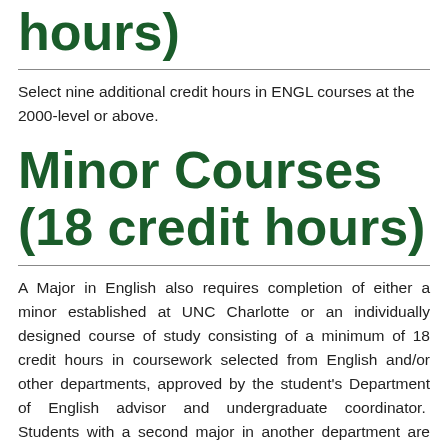hours)
Select nine additional credit hours in ENGL courses at the 2000-level or above.
Minor Courses (18 credit hours)
A Major in English also requires completion of either a minor established at UNC Charlotte or an individually designed course of study consisting of a minimum of 18 credit hours in coursework selected from English and/or other departments, approved by the student's Department of English advisor and undergraduate coordinator.  Students with a second major in another department are considered to have satisfied the minor requirement.